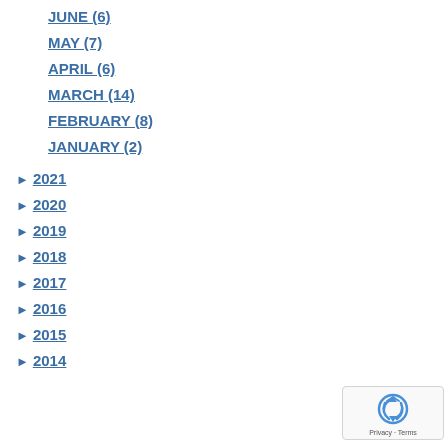JUNE (6)
MAY (7)
APRIL (6)
MARCH (14)
FEBRUARY (8)
JANUARY (2)
► 2021
► 2020
► 2019
► 2018
► 2017
► 2016
► 2015
► 2014